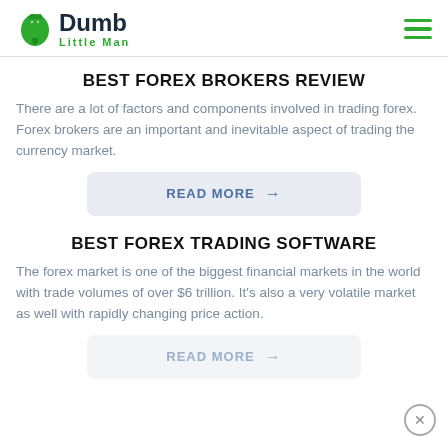Dumb Little Man
BEST FOREX BROKERS REVIEW
There are a lot of factors and components involved in trading forex. Forex brokers are an important and inevitable aspect of trading the currency market.
READ MORE →
BEST FOREX TRADING SOFTWARE
The forex market is one of the biggest financial markets in the world with trade volumes of over $6 trillion. It's also a very volatile market as well with rapidly changing price action.
READ MORE →